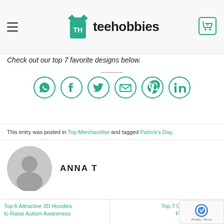teehobbies
Check out our top 7 favorite designs below.
[Figure (infographic): Row of six social share icons in teal circles: WhatsApp, Facebook, Twitter, Email, Pinterest, LinkedIn]
This entry was posted in Top Merchandise and tagged Patrick's Day.
ANNA T
Top 6 Attractive 3D Hoodies to Raise Autism Awareness
Top 7 Creative 3D ... For Deer Hunter